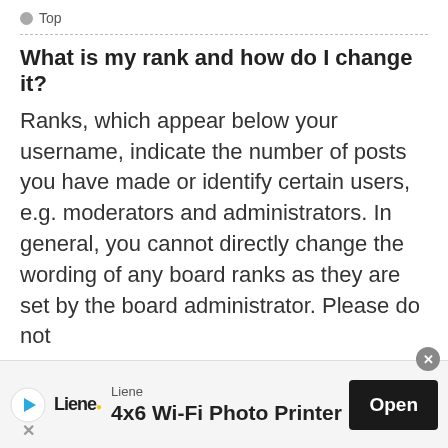Top
What is my rank and how do I change it?
Ranks, which appear below your username, indicate the number of posts you have made or identify certain users, e.g. moderators and administrators. In general, you cannot directly change the wording of any board ranks as they are set by the board administrator. Please do not
[Figure (other): Advertisement banner for Liene 4x6 Wi-Fi Photo Printer with Open button]